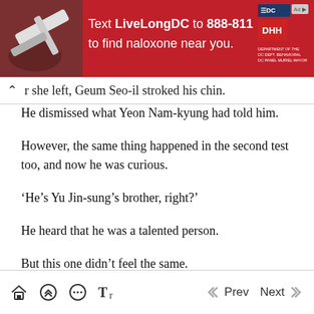[Figure (infographic): Red advertisement banner: Text LiveLongDC to 888-811 to find naloxone near you, with DC and DHH logos]
r she left, Geum Seo-il stroked his chin.
He dismissed what Yeon Nam-kyung had told him.
However, the same thing happened in the second test too, and now he was curious.
‘He’s Yu Jin-sung’s brother, right?’
He heard that he was a talented person.
But this one didn’t feel the same.
It felt suspicious that one child halted two tests.
Home  Scroll up  Comment  Font  Prev  Next